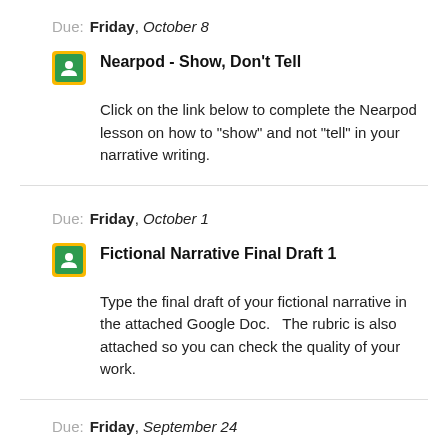Due: Friday, October 8
Nearpod - Show, Don't Tell
Click on the link below to complete the Nearpod lesson on how to "show" and not "tell" in your narrative writing.
Due: Friday, October 1
Fictional Narrative Final Draft 1
Type the final draft of your fictional narrative in the attached Google Doc.   The rubric is also attached so you can check the quality of your work.
Due: Friday, September 24